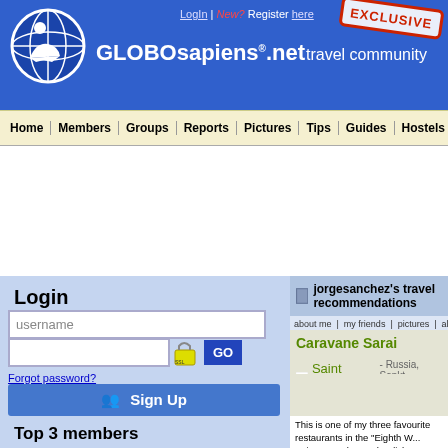[Figure (logo): GLOBOsapiens.net travel community website header with globe logo, login links, site title, and EXCLUSIVE stamp]
LogIn | New? Register here
GLOBOsapiens.net  travel community
Home | Members | Groups | Reports | Pictures | Tips | Guides | Hostels
Login
username
Forgot password?
Sign Up
Top 3 members
jorgesanchez's travel recommendations
about me | my friends | pictures | albums | reports | travel log | t
Caravane Sarai
Saint Petersburg - Russia,  Sankt-Peterburg
This is one of my three favourite restaurants in the "Eighth W... Saint Petersburg. The dishes are of Uzbek cuisine, very tast... spicy. Try traditional manty, and, of course, plov, the most fa... with vegetables, meat or dried fruits). For wines, do not miss... the evenings there are belly dances. To get there take the me...